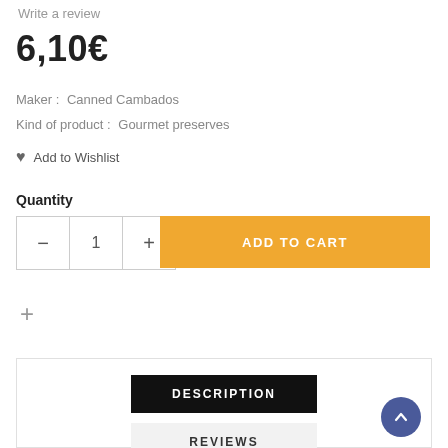Write a review
6,10€
Maker :   Canned Cambados
Kind of product :   Gourmet preserves
♥  Add to Wishlist
Quantity
−  1  +  ADD TO CART
+
DESCRIPTION
REVIEWS